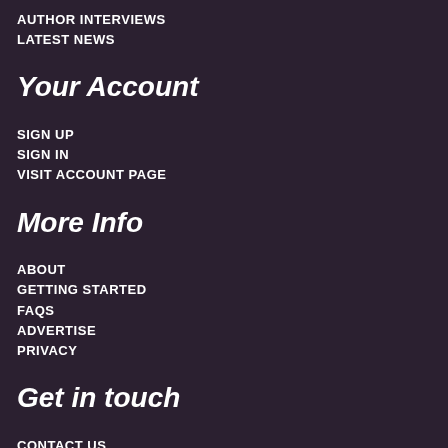AUTHOR INTERVIEWS
LATEST NEWS
Your Account
SIGN UP
SIGN IN
VISIT ACCOUNT PAGE
More Info
ABOUT
GETTING STARTED
FAQS
ADVERTISE
PRIVACY
Get in touch
CONTACT US
FOLLOW US ON TWITTER